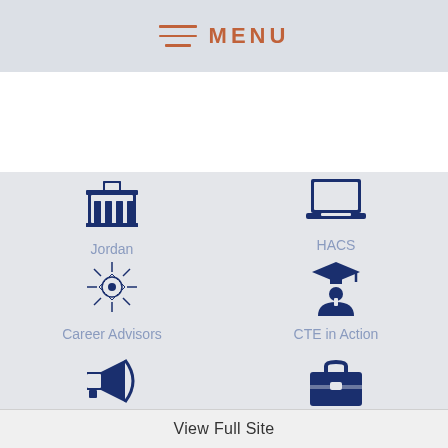MENU
[Figure (screenshot): White blank section]
[Figure (infographic): Navigation grid with four items: Jordan (building icon), HACS (laptop icon), Career Advisors (starburst/compass icon), CTE in Action (graduation figure icon), and two partially visible icons at bottom (megaphone, briefcase)]
View Full Site